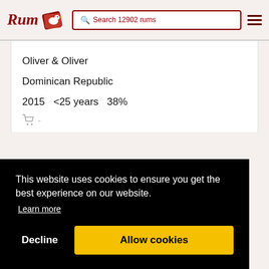Rum | Search 12902 rums
Oliver & Oliver
Dominican Republic
2015   <25 years   38%
This website uses cookies to ensure you get the best experience on our website. Learn more
Decline   Allow cookies